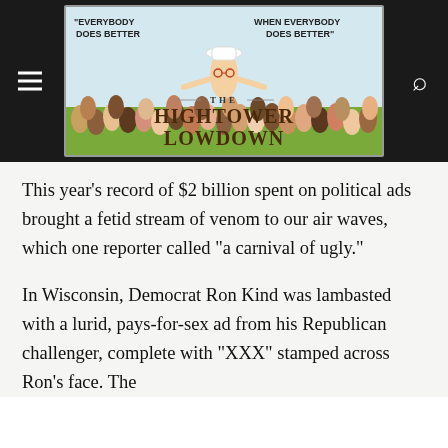[Figure (illustration): The Hightower Lowdown website header banner featuring an illustration of a man in a white hat with arms outstretched, surrounded by a crowd of people. Quote text reads 'EVERYBODY DOES BETTER' on the left and 'WHEN EVERYBODY DOES BETTER' on the right. The publication name 'THE HIGHTOWER LOWDOWN' appears prominently in the center.]
This year’s record of $2 billion spent on political ads brought a fetid stream of venom to our air waves, which one reporter called “a carnival of ugly.”
In Wisconsin, Democrat Ron Kind was lambasted with a lurid, pays-for-sex ad from his Republican challenger, complete with “XXX” stamped across Ron’s face. The